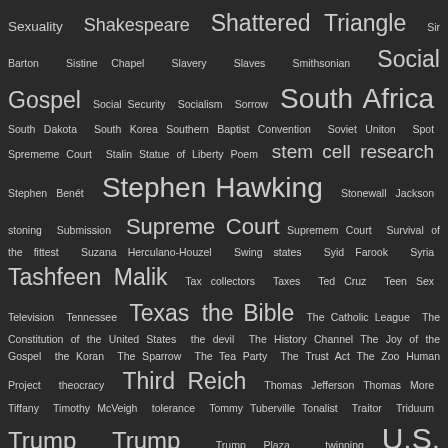[Figure (infographic): Word cloud on dark background listing topics/keywords including Sexuality, Shakespeare, Shattered Triangle, Sir Barton, Sistine Chapel, Slavery, Slaves, Smithsonian, Social Gospel, Social Security, Socialism, Sorrow, South Africa, South Dakota, South Korea, Southern Baptist Convention, Soviet Uniton, Spot, Sprememe Court, Stalin, Statue of Liberty Poem, stem cell research, Stephen Benét, Stephen Hawking, Stonewall Jackson, stoning, Submission, Supreme Court, Supremem Court, Survival of the fittest, Suzana Herculano-Houzel, Swing states, Syid Farook, Syria, Tashfeen Malik, Tax collectors, Taxes, Ted Cruz, Teen Sex, Television, Tennessee, Texas, the Bible, The Catholic League, The Constitution of the United States, the devil, The History Channel, The Joy of the Gospel, the Koran, The Sparrow, The Tea Party, The Trust Act, The Zoo Human Project, theocracy, Third Reich, Thomas Jefferson, Thomas More, Tiffany, Timothy McVeigh, tolerance, Tommy Tuberville, Tonalist, Traitor, Triduum, Trump, Trump, Trump Plaza, twinning, U.S. Bishops, U.S. Capitol, U.S. Constitution, U.S. motto, unarmed, under god, United Nations, United States, Vatican, vengeance, Vetoes, Victor Verster Prison, violence, Virginia, Voldemort, voter fraud, Voter ID laws, Voting Rights Act, Walter Scott, war, War Powers Resolution, Warren Commission, washing of the feet, Washington DC, Wayne LaPierre, wealth, West Africa, White House, William Shakespeare, Wilton Gregory, Winning, Wisconsin, Women Priests, Word of God, Workers' Rights, World Of Hope and Idealism, World religions, WWJD, Wyatt Earp, xenophobia, Xi, Yemen, Yigal Amir, Yitzhak Rabin, Zelaya, Zimmerman]